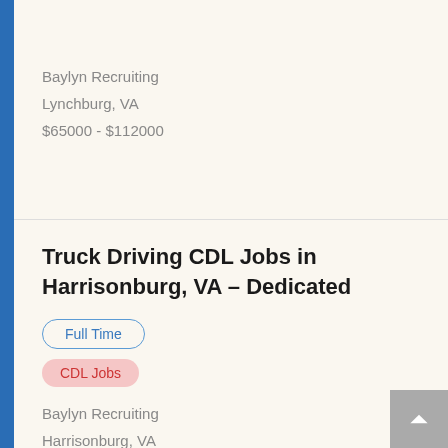Baylyn Recruiting
Lynchburg, VA
$65000 - $112000
Truck Driving CDL Jobs in Harrisonburg, VA – Dedicated
Full Time
CDL Jobs
Baylyn Recruiting
Harrisonburg, VA
$65000 - $112000
Truck Driving CDL